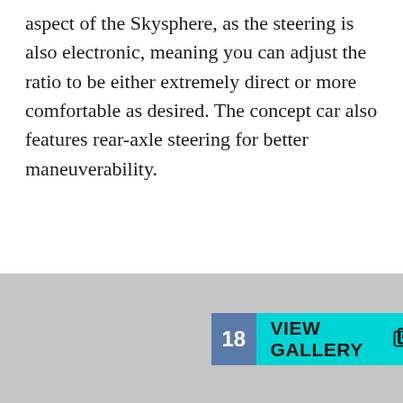aspect of the Skysphere, as the steering is also electronic, meaning you can adjust the ratio to be either extremely direct or more comfortable as desired. The concept car also features rear-axle steering for better maneuverability.
[Figure (photo): Gray placeholder image area with a '18 VIEW GALLERY' button overlay. The button has a blue-gray number badge showing '18' and a cyan/turquoise background for the VIEW GALLERY text with a gallery icon.]
Design-wise, Audi's latest concept car is inspired by the